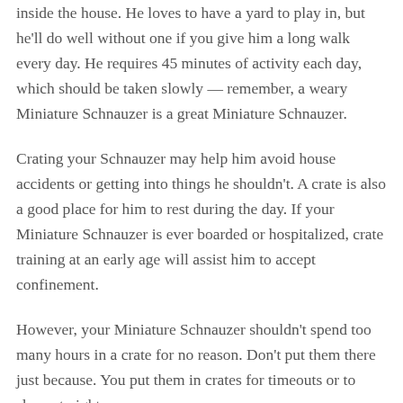inside the house. He loves to have a yard to play in, but he'll do well without one if you give him a long walk every day. He requires 45 minutes of activity each day, which should be taken slowly — remember, a weary Miniature Schnauzer is a great Miniature Schnauzer.
Crating your Schnauzer may help him avoid house accidents or getting into things he shouldn't. A crate is also a good place for him to rest during the day. If your Miniature Schnauzer is ever boarded or hospitalized, crate training at an early age will assist him to accept confinement.
However, your Miniature Schnauzer shouldn't spend too many hours in a crate for no reason. Don't put them there just because. You put them in crates for timeouts or to sleep at night.